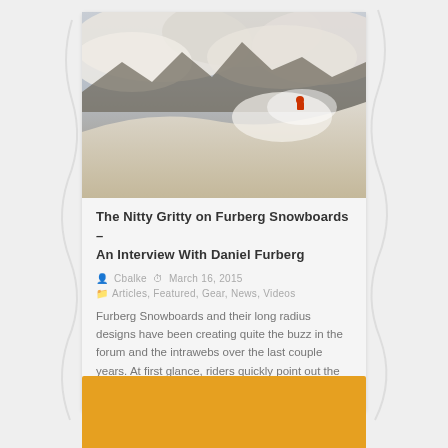[Figure (photo): A snowboarder riding through deep powder snow on a steep mountain slope with dramatic clouds and snowy peaks in the background]
The Nitty Gritty on Furberg Snowboards – An Interview With Daniel Furberg
Cbalke   March 16, 2015
Articles, Featured, Gear, News, Videos
Furberg Snowboards and their long radius designs have been creating quite the buzz in the forum and the intrawebs over the last couple years. At first glance, riders quickly point out the minimal amount of...
[Figure (other): Orange/amber colored rectangular block at the bottom of the page]